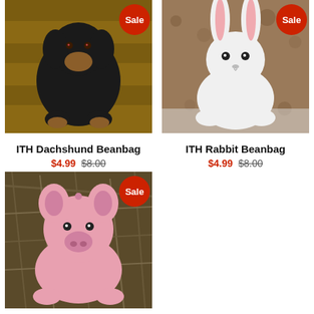[Figure (photo): Black dachshund stuffed animal beanbag toy lying on wooden boards, with 'Sale' badge]
ITH Dachshund Beanbag
$4.99 $8.00
[Figure (photo): White rabbit stuffed animal beanbag toy with pink ears on sandy ground, with 'Sale' badge]
ITH Rabbit Beanbag
$4.99 $8.00
[Figure (photo): Pink pig stuffed animal beanbag toy on hay/grass, with 'Sale' badge]